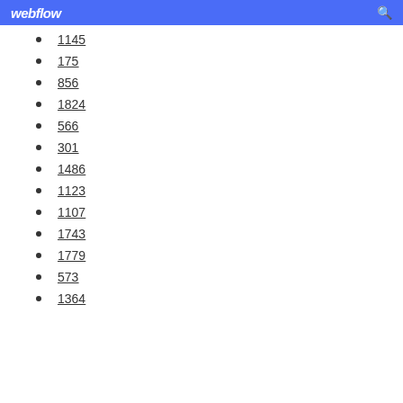webflow
1145
175
856
1824
566
301
1486
1123
1107
1743
1779
573
1364